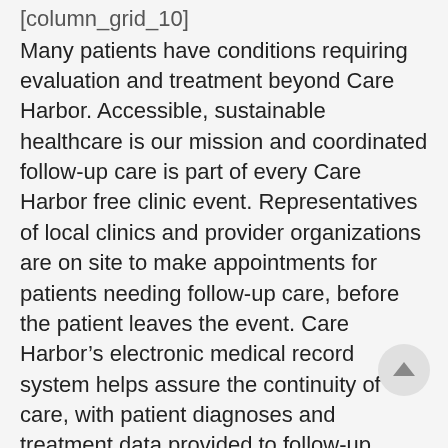[column_grid_10]
Many patients have conditions requiring evaluation and treatment beyond Care Harbor. Accessible, sustainable healthcare is our mission and coordinated follow-up care is part of every Care Harbor free clinic event. Representatives of local clinics and provider organizations are on site to make appointments for patients needing follow-up care, before the patient leaves the event. Care Harbor’s electronic medical record system helps assure the continuity of care, with patient diagnoses and treatment data provided to follow-up providers.
[/column_grid_10]
[/column_wrapper]